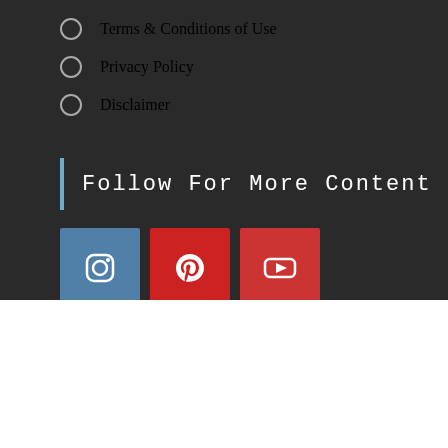Terms & Conditions of Use
Privacy Policy
Disclaimer
Follow For More Content
[Figure (logo): Three social media icons: Instagram (blue square), Pinterest (red square), YouTube (red square)]
We are using cookies to give you the best experience on our website.
You can find out more about which cookies we are using or switch them off in settings.
Accept   Reject   X